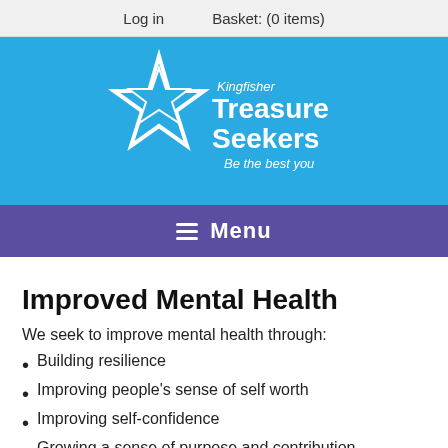Log in   Basket: (0 items)
[Figure (logo): Kingfisher Treasure Seekers logo with star graphic on blue background. Text reads: Kingfisher Treasure Seekers, Be the best you]
≡  Menu
Improved Mental Health
We seek to improve mental health through:
Building resilience
Improving people's sense of self worth
Improving self-confidence
Growing a sense of purpose and contribution
Improving access to early intervention and prevention work